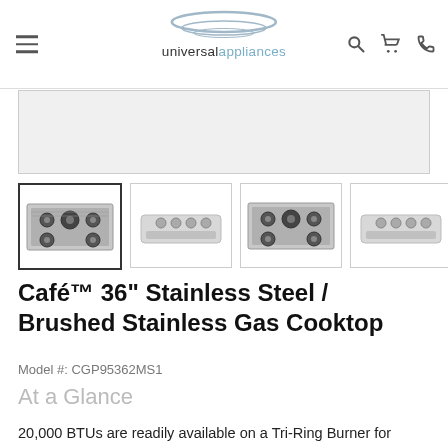universal appliances
[Figure (photo): Main product image area (gray box, partially visible)]
[Figure (photo): Thumbnail 1: Café gas cooktop top view (selected)]
[Figure (photo): Thumbnail 2: Café gas cooktop knobs view]
[Figure (photo): Thumbnail 3: Café gas cooktop top view alternate]
[Figure (photo): Thumbnail 4: Café gas cooktop knobs view alternate (partially visible)]
Café™ 36" Stainless Steel / Brushed Stainless Gas Cooktop
Model #: CGP95362MS1
At a Glance
20,000 BTUs are readily available on a Tri-Ring Burner for